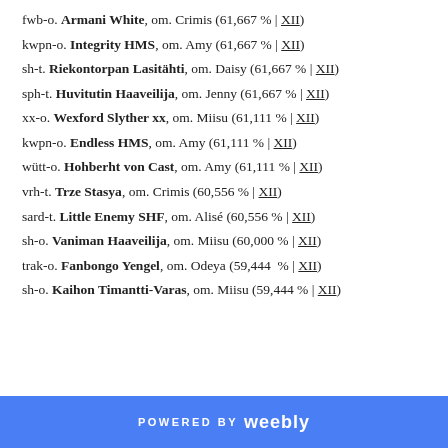fwb-o. Armani White, om. Crimis (61,667 % | XII)
kwpn-o. Integrity HMS, om. Amy (61,667 % | XII)
sh-t. Riekontorpan Lasitähti, om. Daisy (61,667 % | XII)
sph-t. Huvitutin Haaveilija, om. Jenny (61,667 % | XII)
xx-o. Wexford Slyther xx, om. Miisu (61,111 % | XII)
kwpn-o. Endless HMS, om. Amy (61,111 % | XII)
wütt-o. Hohberht von Cast, om. Amy (61,111 % | XII)
vrh-t. Trze Stasya, om. Crimis (60,556 % | XII)
sard-t. Little Enemy SHF, om. Alisé (60,556 % | XII)
sh-o. Vaniman Haaveilija, om. Miisu (60,000 % | XII)
trak-o. Fanbongo Yengel, om. Odeya (59,444  % | XII)
sh-o. Kaihon Timantti-Varas, om. Miisu (59,444 % | XII)
POWERED BY weebly